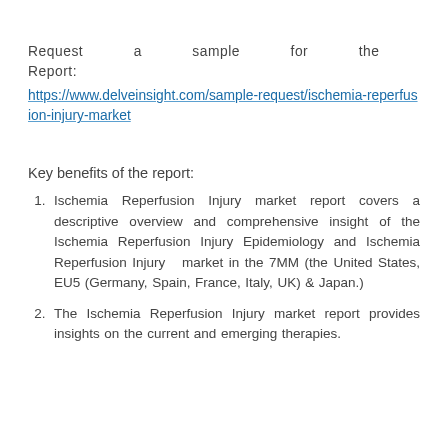Request a sample for the Report: https://www.delveinsight.com/sample-request/ischemia-reperfusion-injury-market
Key benefits of the report:
Ischemia Reperfusion Injury market report covers a descriptive overview and comprehensive insight of the Ischemia Reperfusion Injury Epidemiology and Ischemia Reperfusion Injury market in the 7MM (the United States, EU5 (Germany, Spain, France, Italy, UK) & Japan.)
The Ischemia Reperfusion Injury market report provides insights on the current and emerging therapies.